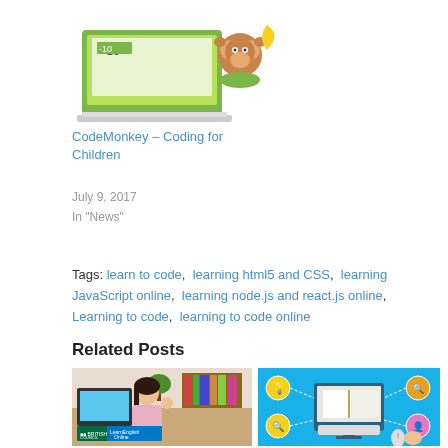[Figure (photo): CodeMonkey laptop with monkey character illustration]
CodeMonkey – Coding for Children
July 9, 2017
In "News"
Tags: learn to code, learning html5 and CSS, learning JavaScript online, learning node.js and react.js online, Learning to code, learning to code online
Related Posts
[Figure (photo): Girl waving at computer screen with British Council LearnEnglish Online logo]
[Figure (infographic): E-learning infographic with monitor showing book and connected learning icons on blue background]